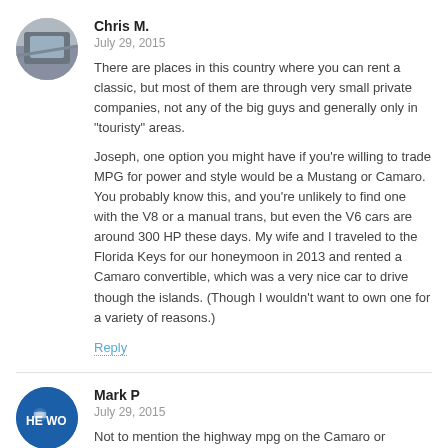Chris M.
July 29, 2015
There are places in this country where you can rent a classic, but most of them are through very small private companies, not any of the big guys and generally only in "touristy" areas.
Joseph, one option you might have if you're willing to trade MPG for power and style would be a Mustang or Camaro. You probably know this, and you're unlikely to find one with the V8 or a manual trans, but even the V6 cars are around 300 HP these days. My wife and I traveled to the Florida Keys for our honeymoon in 2013 and rented a Camaro convertible, which was a very nice car to drive though the islands. (Though I wouldn't want to own one for a variety of reasons.)
Reply
Mark P
July 29, 2015
Not to mention the highway mpg on the Camaro or Mustang V6 is quite respectable for the amount of power. Great road trip cars, but unlike the Mustang V6 coupes of old that rented for about the same as a mid-size sedan, they're considered "high performance" by the rental companies and priced accordingly.
Reply